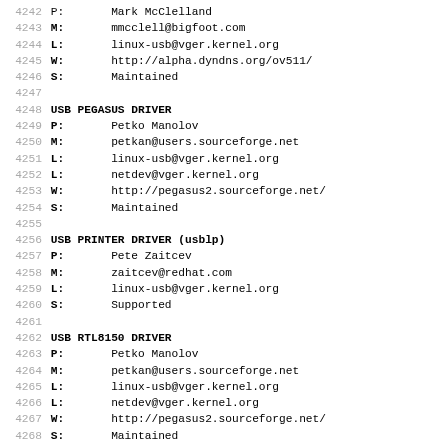4242 P:       Mark McClelland
4243 M:       mmcclell@bigfoot.com
4244 L:       linux-usb@vger.kernel.org
4245 W:       http://alpha.dyndns.org/ov511/
4246 S:       Maintained
4247
4248 USB PEGASUS DRIVER
4249 P:       Petko Manolov
4250 M:       petkan@users.sourceforge.net
4251 L:       linux-usb@vger.kernel.org
4252 L:       netdev@vger.kernel.org
4253 W:       http://pegasus2.sourceforge.net/
4254 S:       Maintained
4255
4256 USB PRINTER DRIVER (usblp)
4257 P:       Pete Zaitcev
4258 M:       zaitcev@redhat.com
4259 L:       linux-usb@vger.kernel.org
4260 S:       Supported
4261
4262 USB RTL8150 DRIVER
4263 P:       Petko Manolov
4264 M:       petkan@users.sourceforge.net
4265 L:       linux-usb@vger.kernel.org
4266 L:       netdev@vger.kernel.org
4267 W:       http://pegasus2.sourceforge.net/
4268 S:       Maintained
4269
4270 USB SE401 DRIVER
4271 P:       Jeroen Vreeken
4272 M:       pe1rxq@amsat.org
4273 L:       linux-usb@vger.kernel.org
4274 W:       http://www.chello.nl/~j.vreeken/se401/